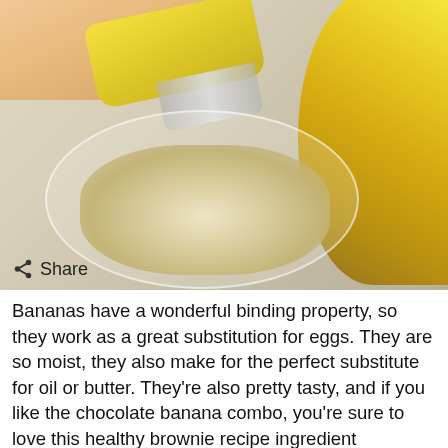[Figure (photo): A banana slicer being used to drop banana slices into a clear glass bowl. Sliced banana pieces are in the bowl. A bunch of yellow bananas is visible in the background on the right. A hand is visible at the top holding the slicer. A share button icon is overlaid at the bottom left of the photo.]
Bananas have a wonderful binding property, so they work as a great substitution for eggs. They are so moist, they also make for the perfect substitute for oil or butter. They're also pretty tasty, and if you like the chocolate banana combo, you're sure to love this healthy brownie recipe ingredient